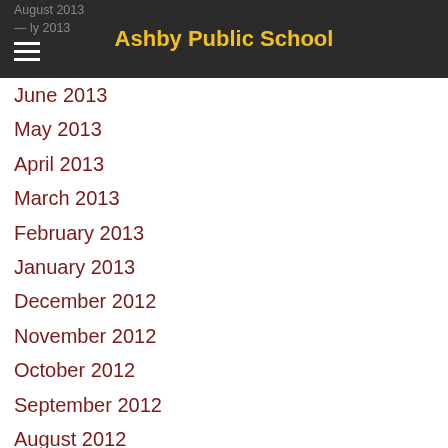Ashby Public School
August 2013
July 2013
June 2013
May 2013
April 2013
March 2013
February 2013
January 2013
December 2012
November 2012
October 2012
September 2012
August 2012
July 2012
June 2012
May 2012
April 2012
March 2012
February 2012